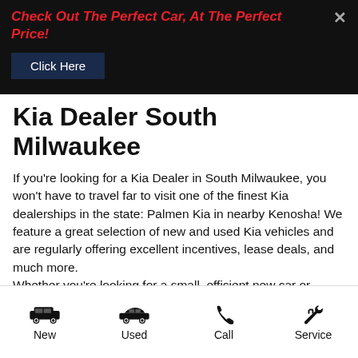Check Out The Perfect Car, At The Perfect Price!
Kia Dealer South Milwaukee
If you're looking for a Kia Dealer in South Milwaukee, you won't have to travel far to visit one of the finest Kia dealerships in the state: Palmen Kia in nearby Kenosha! We feature a great selection of new and used Kia vehicles and are regularly offering excellent incentives, lease deals, and much more. Whether you're looking for a small, efficient new car or something more along the lines of a capable crossover, you won't be disappointed with the lineup of Kia vehicles and the outstanding level of quality and value these models
[Figure (infographic): Bottom navigation bar with four icons and labels: New (SUV icon), Used (sedan icon), Call (phone icon), Service (wrench/tools icon)]